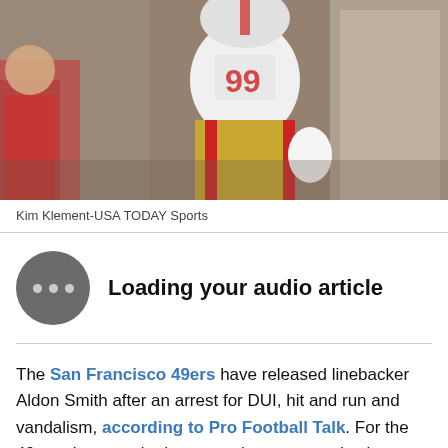[Figure (photo): San Francisco 49ers football player in white and gold uniform with red accents, number 99, in action on the field. Photo credit: Kim Klement-USA TODAY Sports]
Kim Klement-USA TODAY Sports
Loading your audio article
The San Francisco 49ers have released linebacker Aldon Smith after an arrest for DUI, hit and run and vandalism, according to Pro Football Talk. For the 49ers, that was the last straw in a very productive pro career filled with off-the-field issues. Smith has had two DUI arrests in the NFL, and has missed a total of 14 games due to a stint in rehab and a suspension